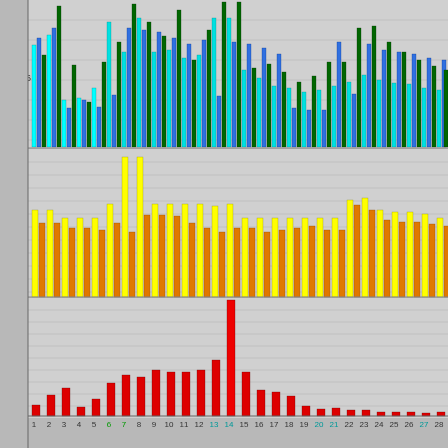[Figure (grouped-bar-chart): Memory usage grouped bar chart - top panel (blue/teal/dark-green series)]
[Figure (grouped-bar-chart): Memory usage grouped bar chart - middle panel (yellow/orange series)]
[Figure (bar-chart): Memory usage bar chart - bottom panel (red series)]